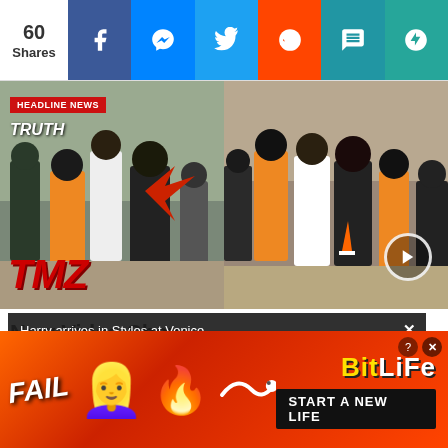60 Shares | Facebook | Messenger | Twitter | Reddit | SMS | More
[Figure (photo): Two side-by-side video stills from TMZ showing a street fight/altercation. Left image has 'HEADLINE NEWS' badge, 'TRUTH' label with red arrow, and TMZ logo. Right image shows more of the same altercation with a play button overlay.]
New Video Show... ping Z-Ro Du...
infolinks
Harry arrives in Styles at Venice
[Figure (screenshot): BitLife advertisement banner with 'FAIL' text, cartoon emoji, fire emoji, snake graphic, BitLife logo, and 'START A NEW LIFE' button on red/orange gradient background.]